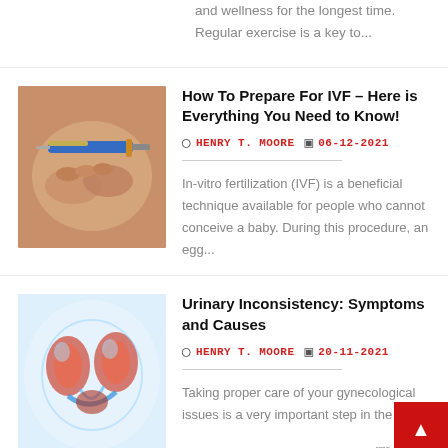and wellness for the longest time. Regular exercise is a key to...
[Figure (photo): Close-up of hands administering an injection to the abdomen area, IVF procedure illustration]
How To Prepare For IVF – Here is Everything You Need to Know!
HENRY T. MOORE   06-12-2021
In-vitro fertilization (IVF) is a beneficial technique available for people who cannot conceive a baby. During this procedure, an egg...
[Figure (photo): Medical illustration of human kidneys and urinary system with colorful anatomical visualization]
Urinary Inconsistency: Symptoms and Causes
HENRY T. MOORE   20-11-2021
Taking proper care of your gynecological issues is a very important step in the